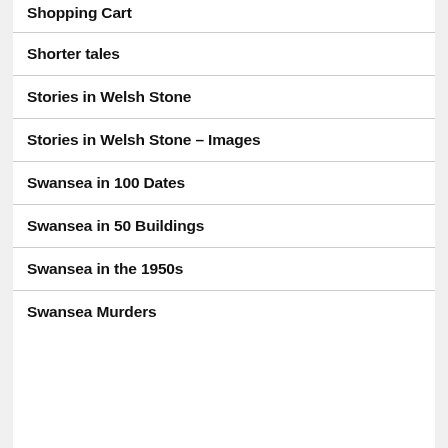Shopping Cart
Shorter tales
Stories in Welsh Stone
Stories in Welsh Stone – Images
Swansea in 100 Dates
Swansea in 50 Buildings
Swansea in the 1950s
Swansea Murders